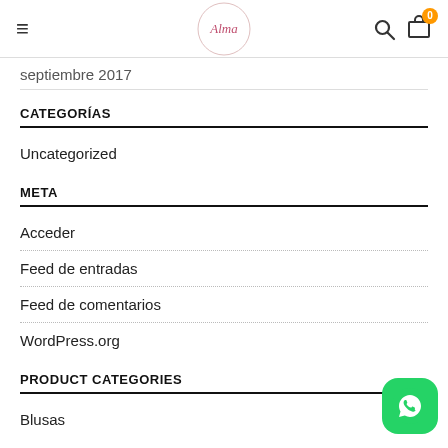Navigation bar with hamburger menu, Alma logo, search icon, and cart (0)
septiembre 2017
CATEGORÍAS
Uncategorized
META
Acceder
Feed de entradas
Feed de comentarios
WordPress.org
PRODUCT CATEGORIES
Blusas